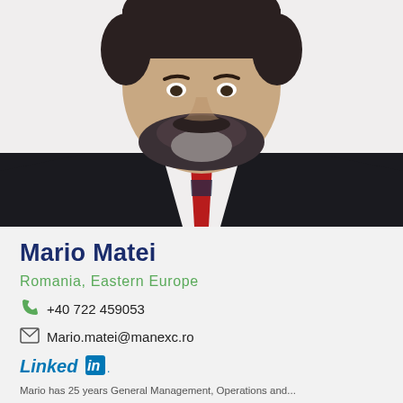[Figure (photo): Professional headshot of Mario Matei, a man with dark suit, white shirt, red and navy striped tie, and dark beard with greying chin area, photographed against a white background.]
Mario Matei
Romania, Eastern Europe
+40 722 459053
Mario.matei@manexc.ro
[Figure (logo): LinkedIn logo]
Mario has 25 years General Management, Operations and...